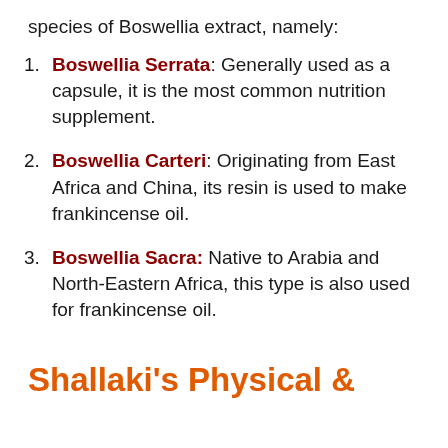species of Boswellia extract, namely:
Boswellia Serrata: Generally used as a capsule, it is the most common nutrition supplement.
Boswellia Carteri: Originating from East Africa and China, its resin is used to make frankincense oil.
Boswellia Sacra: Native to Arabia and North-Eastern Africa, this type is also used for frankincense oil.
Shallaki's Physical &